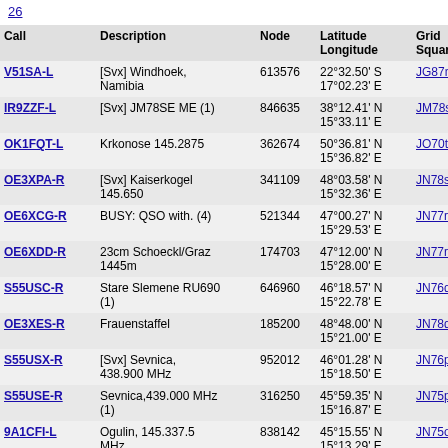26
| Call | Description | Node | Latitude Longitude | Grid Square | Dist (mi) |
| --- | --- | --- | --- | --- | --- |
| V51SA-L | [Svx] Windhoek, Namibia | 613576 | 22°32.50' S 17°02.23' E | JG87mk | 6048.8 |
| IR9ZZF-L | [Svx] JM78SE ME (1) | 846635 | 38°12.41' N 15°33.11' E | JM78se | 6053.7 |
| OK1FQT-L | Krkonose 145.2875 | 362674 | 50°36.81' N 15°36.82' E | JO70to | 6054.4 |
| OE3XPA-R | [Svx] Kaiserkogel 145.650 | 341109 | 48°03.58' N 15°32.36' E | JN78sb | 6056.3 |
| OE6XCG-R | BUSY: QSO with. (4) | 521344 | 47°00.27' N 15°29.53' E | JN77ra | 6058.1 |
| OE6XDD-R | 23cm Schoeckl/Graz 1445m | 174703 | 47°12.00' N 15°28.00' E | JN77re | 6059.4 |
| S55USC-R | Stare Slemene RU690 (1) | 646960 | 46°18.57' N 15°22.78' E | JN76qh | 6063.2 |
| OE3XES-R | Frauenstaffel | 185200 | 48°48.00' N 15°21.00' E | JN78qt | 6065.3 |
| S55USX-R | [Svx] Sevnica, 438.900 MHz | 952012 | 46°01.28' N 15°18.50' E | JN76pa | 6066.6 |
| S55USE-R | Sevnica,439.000 MHz (1) | 316250 | 45°59.35' N 15°16.87' E | JN75px | 6067.9 |
| 9A1CFI-L | Ogulin, 145.337.5 MHz | 838142 | 45°15.55' N 15°13.29' E | JN75og | 6070.7 |